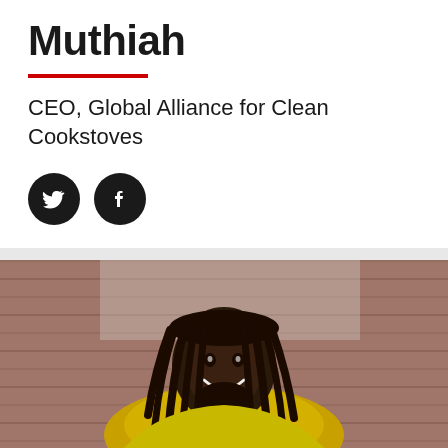Muthiah
CEO, Global Alliance for Clean Cookstoves
[Figure (illustration): Twitter and Facebook social media icons (white bird and f logos on black circular backgrounds)]
[Figure (photo): Portrait photo of a smiling man with dreadlocks wearing a yellow shirt, photographed against a wooden plank wall background]